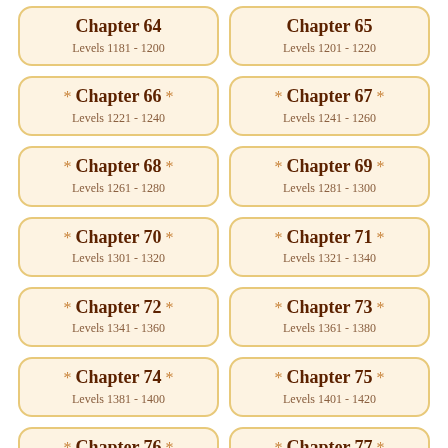Chapter 64 Levels 1181 - 1200
Chapter 65 Levels 1201 - 1220
* Chapter 66 * Levels 1221 - 1240
* Chapter 67 * Levels 1241 - 1260
* Chapter 68 * Levels 1261 - 1280
* Chapter 69 * Levels 1281 - 1300
* Chapter 70 * Levels 1301 - 1320
* Chapter 71 * Levels 1321 - 1340
* Chapter 72 * Levels 1341 - 1360
* Chapter 73 * Levels 1361 - 1380
* Chapter 74 * Levels 1381 - 1400
* Chapter 75 * Levels 1401 - 1420
* Chapter 76 * Levels 1421 - 1440
* Chapter 77 * Levels 1441 - 1460
* Chapter 78 *
* Chapter 79 *